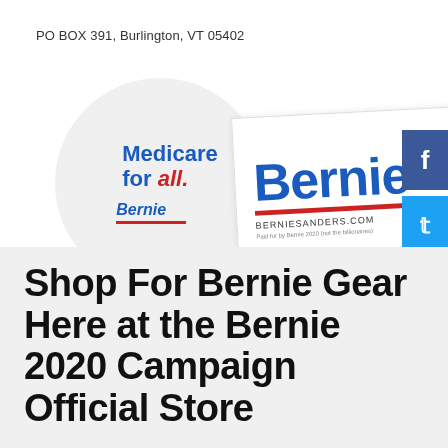PO BOX 391, Burlington, VT 05402
[Figure (photo): Campaign merchandise: a circular 'Medicare for all. Bernie' sticker and a 'Bernie BERNIESANDERS.COM' bumper sticker, with Facebook, Twitter, and Pinterest social share buttons on the right]
Shop For Bernie Gear Here at the Bernie 2020 Campaign Official Store